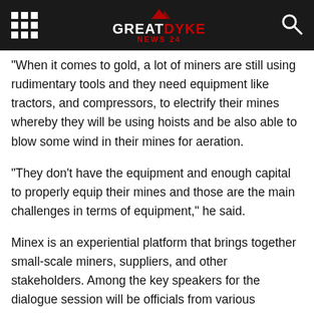Great Dyke News 24
When it comes to gold, a lot of miners are still using rudimentary tools and they need equipment like tractors, and compressors, to electrify their mines whereby they will be using hoists and be also able to blow some wind in their mines for aeration.
“They don’t have the equipment and enough capital to properly equip their mines and those are the main challenges in terms of equipment,” he said.
Minex is an experiential platform that brings together small-scale miners, suppliers, and other stakeholders. Among the key speakers for the dialogue session will be officials from various regulatory and policy-making organisation as well as mining value chain stakeholders.
Minex has been running for the past 7 years and they were in Mashonaland Central last year where Shamva hosted the Minex